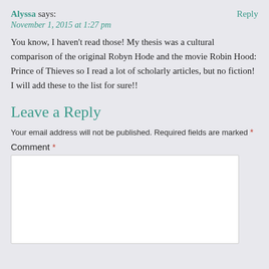Alyssa says:
Reply
November 1, 2015 at 1:27 pm
You know, I haven't read those! My thesis was a cultural comparison of the original Robyn Hode and the movie Robin Hood: Prince of Thieves so I read a lot of scholarly articles, but no fiction! I will add these to the list for sure!!
Leave a Reply
Your email address will not be published. Required fields are marked *
Comment *